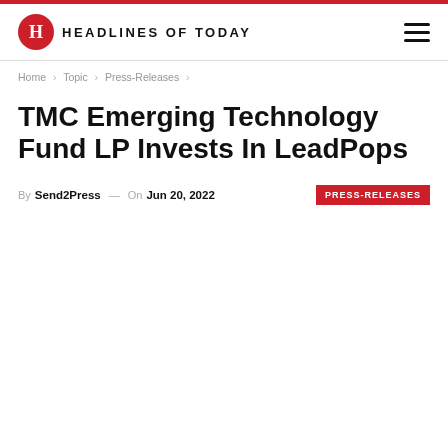HEADLINES OF TODAY
Home > Topic > Press-Releases
TMC Emerging Technology Fund LP Invests In LeadPops
By Send2Press — On Jun 20, 2022  PRESS-RELEASES